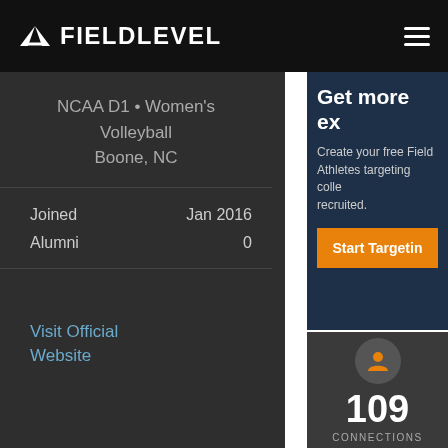FIELDLEVEL
NCAA D1 • Women's Volleyball
Boone, NC
Joined  Jan 2016
Alumni  0
Visit Official Website
Get more ex
Create your free Field
Athletes targeting colle
recruited.
Start Targeting
[Figure (infographic): Person/user icon in orange inside a dark circle, with '109' in large white text below and 'CONNECTIONS' label underneath]